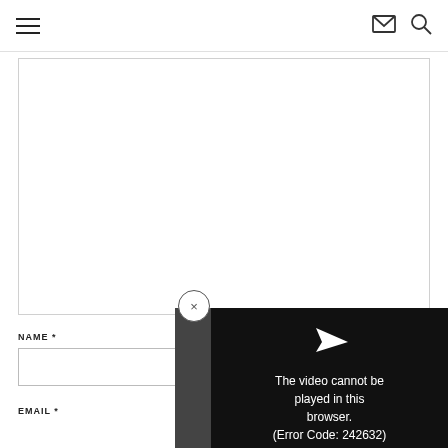Navigation header with hamburger menu, mail icon, and search icon
[Figure (screenshot): White content area box, partially visible, with a close (X) circle button and a video error overlay showing a play arrow icon and the text 'The video cannot be played in this browser. (Error Code: 242632)' on a dark background]
NAME *
EMAIL *